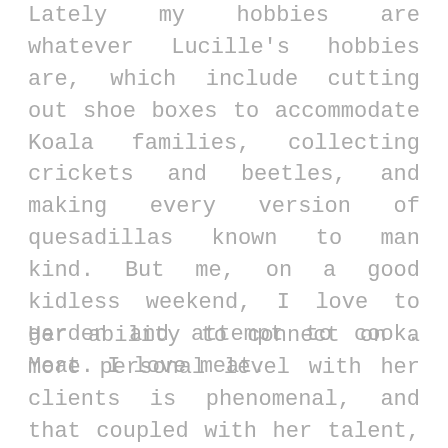Lately my hobbies are whatever Lucille's hobbies are, which include cutting out shoe boxes to accommodate Koala families, collecting crickets and beetles, and making every version of quesadillas known to man kind. But me, on a good kidless weekend, I love to garden and attempt to cook. Meat. I love meat.
Her ability to connect on a more personal level with her clients is phenomenal, and that coupled with her talent, has earned her many sweet reviews, thank you's, referrals, and compliments. Her clients have said she is “amazing,” the “go-to for all things skin related",